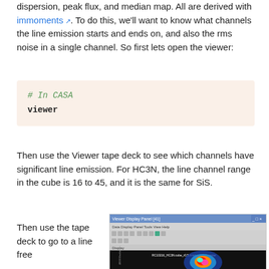dispersion, peak flux, and median map. All are derived with immoments. To do this, we'll want to know what channels the line emission starts and ends on, and also the rms noise in a single channel. So first lets open the viewer:
# In CASA
viewer
Then use the Viewer tape deck to see which channels have significant line emission. For HC3N, the line channel range in the cube is 16 to 45, and it is the same for SiS.
Then use the tape deck to go to a line free
[Figure (screenshot): CASA Viewer Display Panel showing a false-color radio astronomy image of RC10216 HC3N cube moment 0 raster map, with rainbow colormap showing emission distribution.]